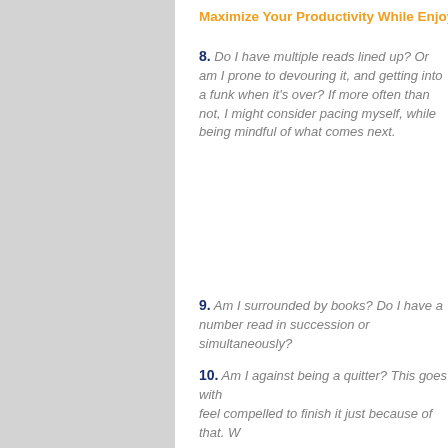Maximize Your Productivity While Enjoying the Ride
8. Do I have multiple reads lined up? Or am I prone to devouring it, and getting into a funk when it's over? If more often than not, I might consider pacing myself, while being mindful of what comes next.
9. Am I surrounded by books? Do I have a number read in succession or simultaneously?
10. Am I against being a quitter? This goes with... feel compelled to finish it just because of that. W